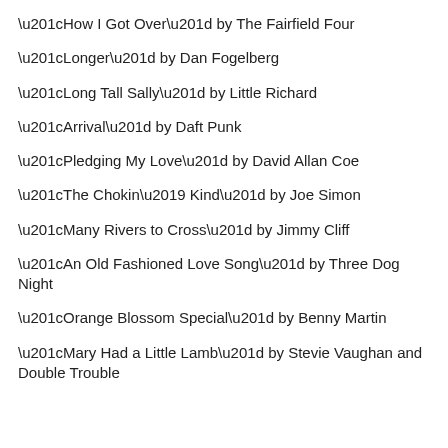“How I Got Over” by The Fairfield Four
“Longer” by Dan Fogelberg
“Long Tall Sally” by Little Richard
“Arrival” by Daft Punk
“Pledging My Love” by David Allan Coe
“The Chokin’ Kind” by Joe Simon
“Many Rivers to Cross” by Jimmy Cliff
“An Old Fashioned Love Song” by Three Dog Night
“Orange Blossom Special” by Benny Martin
“Mary Had a Little Lamb” by Stevie Vaughan and Double Trouble